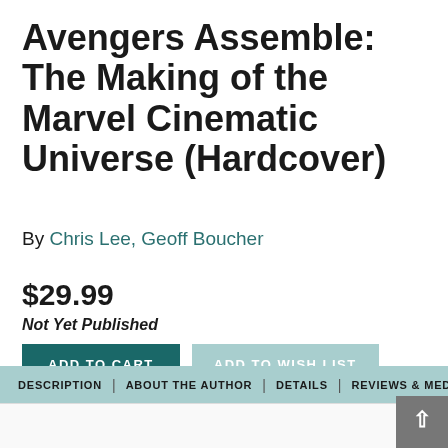Avengers Assemble: The Making of the Marvel Cinematic Universe (Hardcover)
By Chris Lee, Geoff Boucher
$29.99
Not Yet Published
ADD TO CART
ADD TO WISH LIST
DESCRIPTION | ABOUT THE AUTHOR | DETAILS | REVIEWS & MEDIA